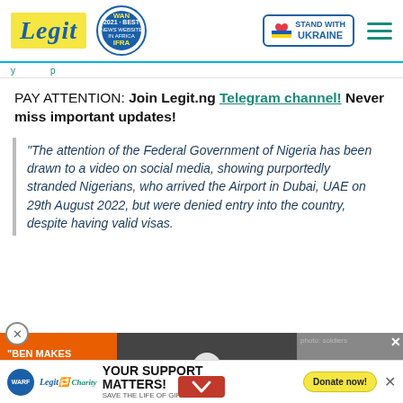Legit — Best News Website in Africa 2021 · WAN IFRA — Stand With Ukraine
PAY ATTENTION: Join Legit.ng Telegram channel! Never miss important updates!
“The attention of the Federal Government of Nigeria has been drawn to a video on social media, showing purportedly stranded Nigerians, who arrived the Airport in Dubai, UAE on 29th August 2022, but were denied entry into the country, despite having valid visas.
[Figure (screenshot): Advertisement video thumbnail: Ben Makes Life Tough For Himself — celebrity photo with play button overlay]
[Figure (photo): Advertisement: Ukrainian soldiers with weapon in field]
[Figure (infographic): Charity banner: YOUR SUPPORT MATTERS! SAVE THE LIFE OF GIRL AT RISK — Legit Charity / WARF logos with Donate now button]